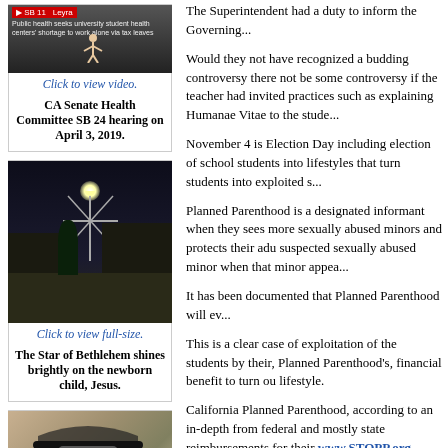[Figure (screenshot): Video thumbnail showing a news broadcast with a person named Leyra and public health-related text overlay]
Click to view video.
CA Senate Health Committee SB 24 hearing on April 3, 2019.
[Figure (photo): Nighttime photo showing the Star of Bethlehem light display on a street]
Click to view full-size.
The Star of Bethlehem shines brightly on the newborn child, Jesus.
[Figure (photo): Photo of what appears to be a stroller or baby carriage]
The Superintendent had a duty to inform the Governing...
Would they not have recognized a budding controversy there not be some controversy if the teacher had invited practices such as explaining Humanae Vitae to the stude...
November 4 is Election Day including election of school students into lifestyles that turn students into exploited s...
Planned Parenthood is a designated informant when they sees more sexually abused minors and protects their adu suspected sexually abused minor when that minor appea...
It has been documented that Planned Parenthood will ev...
This is a clear case of exploitation of the students by their, Planned Parenthood's, financial benefit to turn ou lifestyle.
California Planned Parenthood, according to an in-depth from federal and mostly state reimbursements for their www.STOPP.org.
Planned Parenthood's obvious goal is their net profit. attendant physical and mental health problems. Then the state taxpayer dollars to abort their unintended pregnanc is their right and it is their right by privacy law not to...